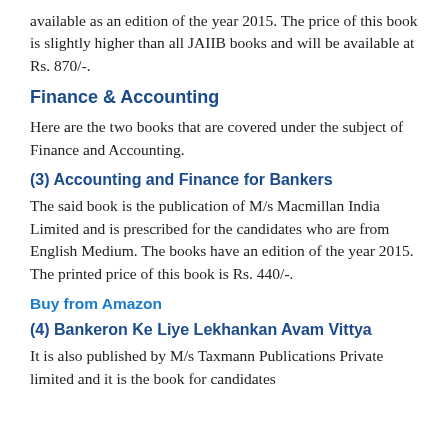available as an edition of the year 2015. The price of this book is slightly higher than all JAIIB books and will be available at Rs. 870/-.
Finance & Accounting
Here are the two books that are covered under the subject of Finance and Accounting.
(3) Accounting and Finance for Bankers
The said book is the publication of M/s Macmillan India Limited and is prescribed for the candidates who are from English Medium. The books have an edition of the year 2015. The printed price of this book is Rs. 440/-.
Buy from Amazon
(4) Bankeron Ke Liye Lekhankan Avam Vittya
It is also published by M/s Taxmann Publications Private limited and it is the book for candidates